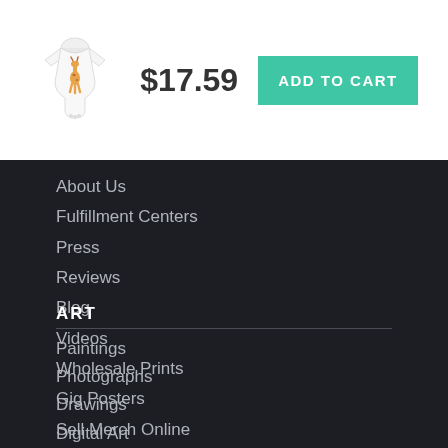[Figure (photo): White baby onesie with a small giraffe graphic on the front]
$17.59
ADD TO CART
About Us
Fulfillment Centers
Press
Reviews
Blog
Videos
Wholesale Prints
Gig Posters
Sell Merch Online
ART
Paintings
Photographs
Drawings
Digital Art